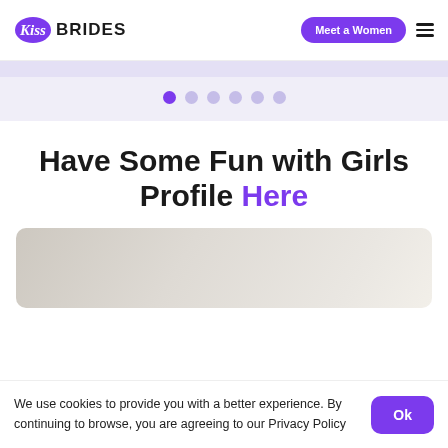Kiss Brides | Meet a Women
[Figure (other): Carousel slider dots navigation with 6 dots, first dot active in purple]
Have Some Fun with Girls Profile Here
[Figure (photo): Partially visible blurred/faded background image placeholder]
We use cookies to provide you with a better experience. By continuing to browse, you are agreeing to our Privacy Policy